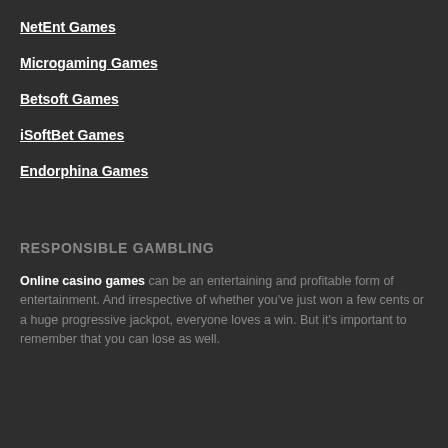NetEnt Games
Microgaming Games
Betsoft Games
iSoftBet Games
Endorphina Games
RESPONSIBLE GAMBLING
Online casino games can be an entertaining and profitable form of entertainment. And irrespective of whether you've just won a few cents or a huge progressive jackpot, everyone loves a win. But it's important to remember that you can lose as well.